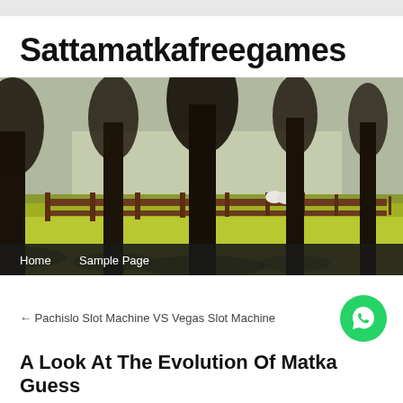Sattamatkafreegames
[Figure (photo): Landscape photo of a row of large bare trees in a park with a wooden fence and green/yellow grassy ground, with two white sheep visible in the background. Navigation bar at bottom shows 'Home' and 'Sample Page'.]
← Pachislo Slot Machine VS Vegas Slot Machine
A Look At The Evolution Of Matka Guess